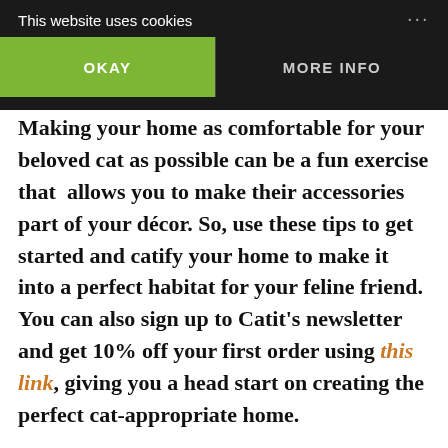This website uses cookies
Making your home as comfortable for your beloved cat as possible can be a fun exercise that  allows you to make their accessories part of your décor. So, use these tips to get started and catify your home to make it into a perfect habitat for your feline friend. You can also sign up to Catit's newsletter and get 10% off your first order using this link, giving you a head start on creating the perfect cat-appropriate home.